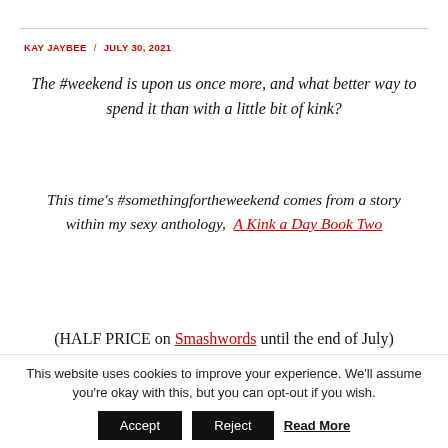KAY JAYBEE / JULY 30, 2021
The #weekend is upon us once more, and what better way to spend it than with a little bit of kink?
This time's #somethingfortheweekend comes from a story within my sexy anthology,  A Kink a Day Book Two
(HALF PRICE on Smashwords until the end of July)
This website uses cookies to improve your experience. We'll assume you're okay with this, but you can opt-out if you wish.